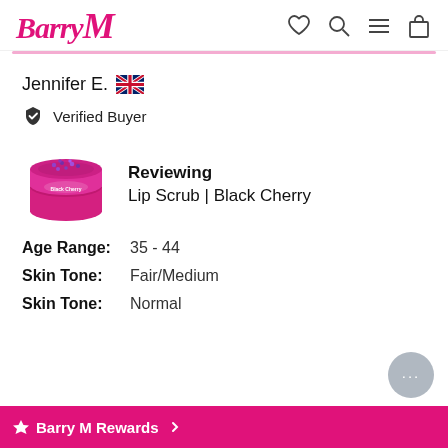Barry M (logo) — navigation icons: wishlist, search, menu, cart
Jennifer E. 🇬🇧
✔ Verified Buyer
[Figure (photo): Pink round tin of Barry M Lip Scrub Black Cherry product]
Reviewing
Lip Scrub | Black Cherry
Age Range: 35 - 44
Skin Tone: Fair/Medium
Skin Type: Normal
Barry M Rewards